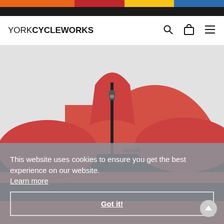YORKCYCLEWORKS — website header with navigation icons (search, bag, menu)
[Figure (photo): Red/coral Santini cycling jacket with black horizontal stripes, shown on a mannequin against light grey background. Cookie consent overlay is visible over the lower portion of the image with text and a Got it! button.]
This website uses cookies to ensure you get the best experience on our website. Learn more
Got it!